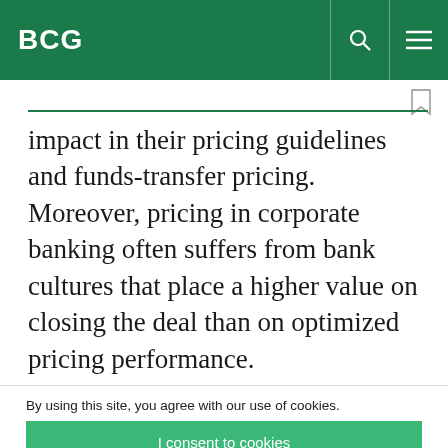BCG
impact in their pricing guidelines and funds-transfer pricing. Moreover, pricing in corporate banking often suffers from bank cultures that place a higher value on closing the deal than on optimized pricing performance.
By using this site, you agree with our use of cookies.
I consent to cookies
Want to know more?
Read our Cookie Policy